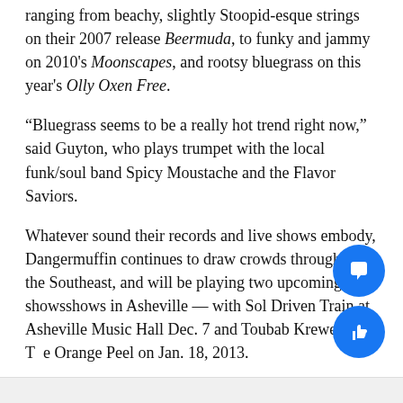ranging from beachy, slightly Stoopid-esque strings on their 2007 release Beermuda, to funky and jammy on 2010's Moonscapes, and rootsy bluegrass on this year's Olly Oxen Free.
“Bluegrass seems to be a really hot trend right now,” said Guyton, who plays trumpet with the local funk/soul band Spicy Moustache and the Flavor Saviors.
Whatever sound their records and live shows embody, Dangermuffin continues to draw crowds throughout the Southeast, and will be playing two upcoming showsshows in Asheville — with Sol Driven Train at Asheville Music Hall Dec. 7 and Toubab Krewe at The Orange Peel on Jan. 18, 2013.